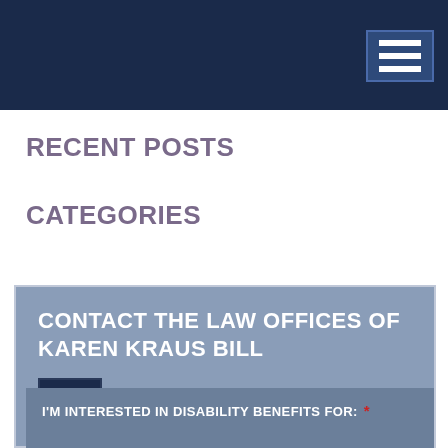RECENT POSTS
CATEGORIES
CONTACT THE LAW OFFICES OF KAREN KRAUS BILL
573.875.5200
I'M INTERESTED IN DISABILITY BENEFITS FOR: *